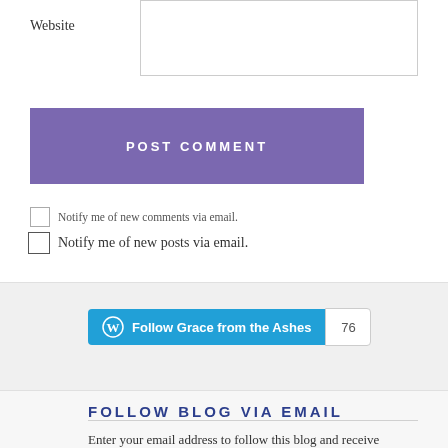Website
POST COMMENT
Notify me of new comments via email.
Notify me of new posts via email.
[Figure (other): WordPress Follow button for 'Grace from the Ashes' with follower count 76]
FOLLOW BLOG VIA EMAIL
Enter your email address to follow this blog and receive